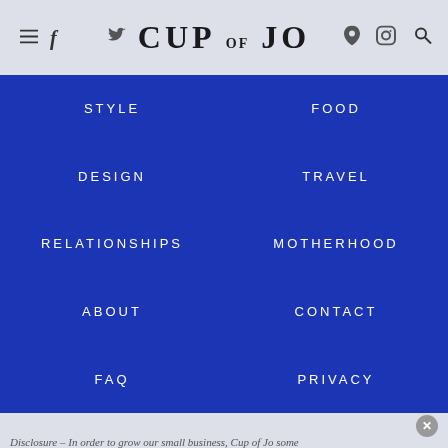CUP OF JO
STYLE
FOOD
DESIGN
TRAVEL
RELATIONSHIPS
MOTHERHOOD
ABOUT
CONTACT
FAQ
PRIVACY
Disclosure – In order to grow our small business, Cup of Jo some...